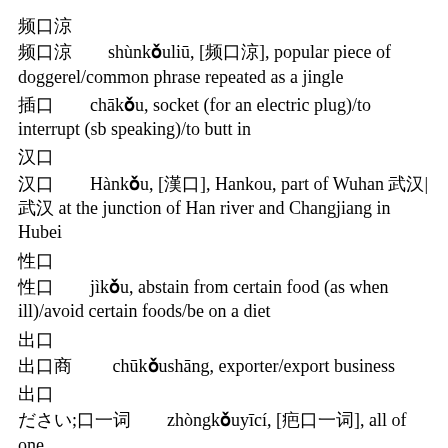顺口溜
顺口溜		shùnkǒuliū, [顺口溜], popular piece of doggerel/common phrase repeated as a jingle
插口		chākǒu, socket (for an electric plug)/to interrupt (sb speaking)/to butt in
汉口
汉口		Hànkǒu, [漢口], Hankou, part of Wuhan 武汉|武汉 at the junction of Han river and Changjiang in Hubei
忌口
忌口		jìkǒu, abstain from certain food (as when ill)/avoid certain foods/be on a diet
出口
出口商		chūkǒushāng, exporter/export business
出口
众口一词		zhòngkǒuyīcí, [眾口一詞], all of one voice/...